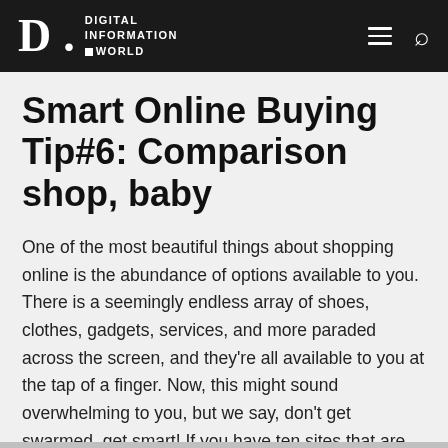DIGITAL INFORMATION WORLD
Smart Online Buying Tip#6: Comparison shop, baby
One of the most beautiful things about shopping online is the abundance of options available to you. There is a seemingly endless array of shoes, clothes, gadgets, services, and more paraded across the screen, and they're all available to you at the tap of a finger. Now, this might sound overwhelming to you, but we say, don't get swarmed, get smart! If you have ten sites that are selling the same item, use this to your advantage by comparison shopping across the web. Look to see which store has the cheapest prices, the biggest deals, the best